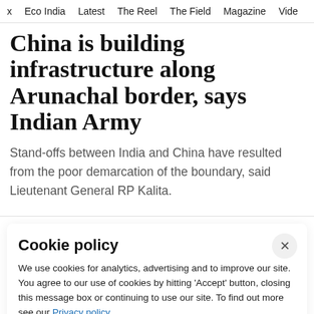x  Eco India  Latest  The Reel  The Field  Magazine  Vide
China is building infrastructure along Arunachal border, says Indian Army
Stand-offs between India and China have resulted from the poor demarcation of the boundary, said Lieutenant General RP Kalita.
Cookie policy
We use cookies for analytics, advertising and to improve our site. You agree to our use of cookies by hitting 'Accept' button, closing this message box or continuing to use our site. To find out more see our Privacy policy .
Accept